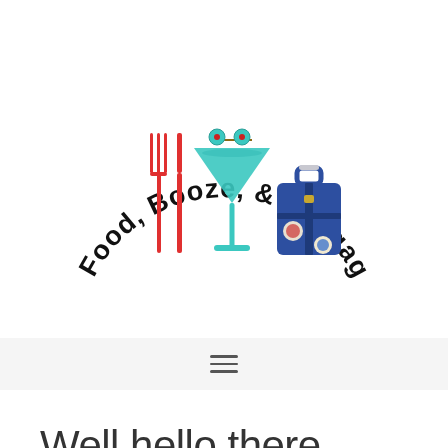[Figure (logo): Food, Booze, & Baggage logo with arched handwritten text and icons of red fork and knife, teal martini glass with olive, and blue suitcase]
Well hello there